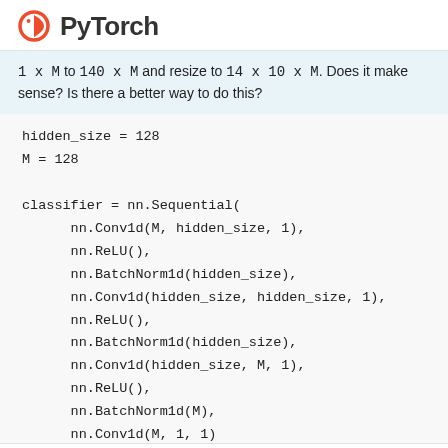PyTorch
1 x M to 140 x M and resize to 14 x 10 x M. Does it make sense? Is there a better way to do this?
hidden_size = 128
M = 128

classifier = nn.Sequential(
    nn.Conv1d(M, hidden_size, 1),
    nn.ReLU(),
    nn.BatchNorm1d(hidden_size),
    nn.Conv1d(hidden_size, hidden_size, 1),
    nn.ReLU(),
    nn.BatchNorm1d(hidden_size),
    nn.Conv1d(hidden_size, M, 1),
    nn.ReLU(),
    nn.BatchNorm1d(M),
    nn.Conv1d(M, 1, 1)
)